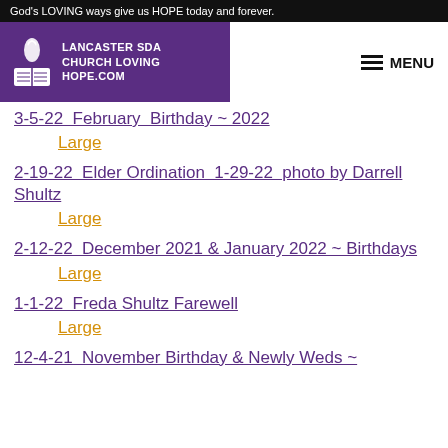God's LOVING ways give us HOPE today and forever.
[Figure (logo): Lancaster SDA Church Loving Hope logo with flame/book icon on purple background]
3-5-22  February  Birthday ~ 2022
Large
2-19-22  Elder Ordination  1-29-22  photo by Darrell Shultz
Large
2-12-22  December 2021 & January 2022 ~ Birthdays
Large
1-1-22  Freda Shultz Farewell
Large
12-4-21  November Birthday & Newly Weds ~